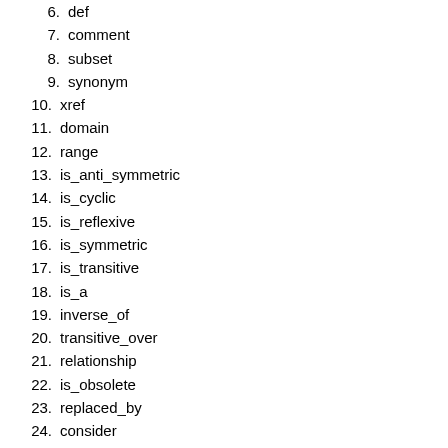6. def
7. comment
8. subset
9. synonym
10. xref
11. domain
12. range
13. is_anti_symmetric
14. is_cyclic
15. is_reflexive
16. is_symmetric
17. is_transitive
18. is_a
19. inverse_of
20. transitive_over
21. relationship
22. is_obsolete
23. replaced_by
24. consider
Instance tags should appear in the following order:
1. id
2. is_anonymous
3. name
4. namespace